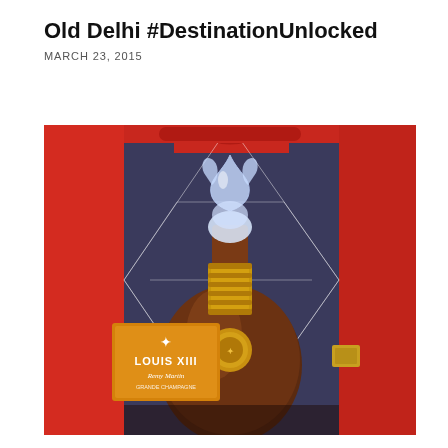Old Delhi #DestinationUnlocked
MARCH 23, 2015
[Figure (photo): Close-up photograph of a Louis XIII Remy Martin cognac bottle with an ornate crystal stopper and gold neck, displayed in a red luxury presentation box with geometric diamond pattern lines. The bottle features an orange label reading 'LOUIS XIII Remy Martin' with a fleur-de-lis symbol.]